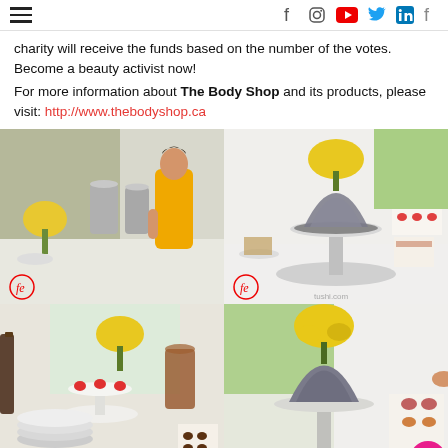Navigation and social icons header
charity will receive the funds based on the number of the votes. Become a beauty activist now!
For more information about The Body Shop and its products, please visit: http://www.thebodyshop.ca
[Figure (photo): Grid of four event catering photos showing food displays with yellow flowers, desserts, strawberry treats, and beverages at a Body Shop event.]
[Figure (photo): Partial bottom strip photo showing sunflowers and event setup.]